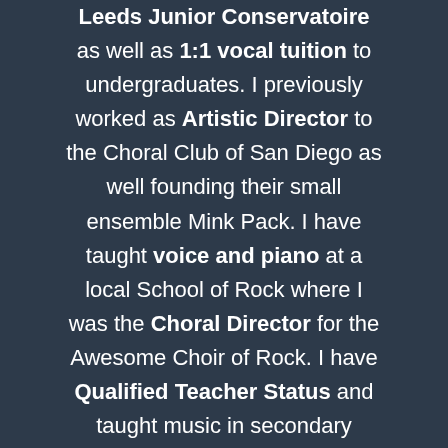Leeds Junior Conservatoire as well as 1:1 vocal tuition to undergraduates. I previously worked as Artistic Director to the Choral Club of San Diego as well founding their small ensemble Mink Pack. I have taught voice and piano at a local School of Rock where I was the Choral Director for the Awesome Choir of Rock. I have Qualified Teacher Status and taught music in secondary schools (inc. GCSE and A Level) in the royal boroughs, being recognised as a top contributor by TES Secondary